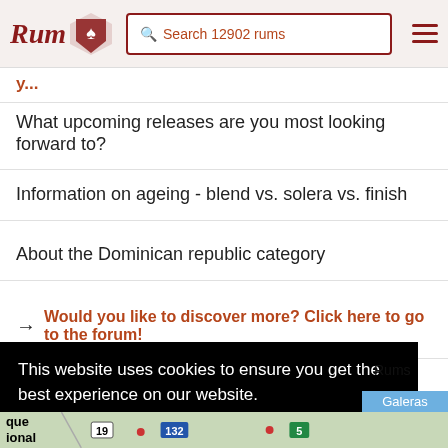Rum [logo] | Search 12902 rums
What upcoming releases are you most looking forward to?
Information on ageing - blend vs. solera vs. finish
About the Dominican republic category
→ Would you like to discover more? Click here to go to the forum!
This website uses cookies to ensure you get the best experience on our website.
Learn more
Decline   Allow cookies
Rums
age of
Galeras